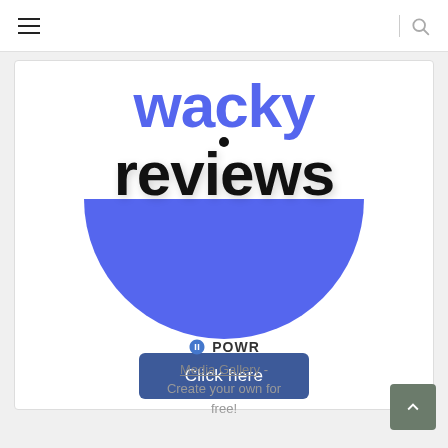Navigation bar with hamburger menu and search icon
[Figure (logo): Wacky Reviews logo: blue 'wacky' text above black 'reviews' text with a blue half-circle shape beneath, and a small black dot above the 'i' in reviews. A blue 'Click here' button below.]
POWR
Media Gallery - Create your own for free!